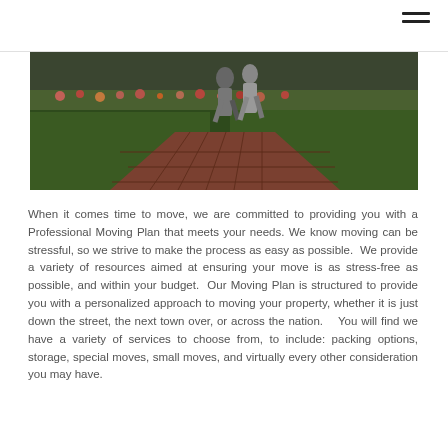≡
[Figure (photo): Outdoor photo showing a brick pathway through green grass with flowers in the background and two people walking, partially cropped at the bottom.]
When it comes time to move, we are committed to providing you with a Professional Moving Plan that meets your needs. We know moving can be stressful, so we strive to make the process as easy as possible.  We provide a variety of resources aimed at ensuring your move is as stress-free as possible, and within your budget.  Our Moving Plan is structured to provide you with a personalized approach to moving your property, whether it is just down the street, the next town over, or across the nation.   You will find we have a variety of services to choose from, to include: packing options, storage, special moves, small moves, and virtually every other consideration you may have.